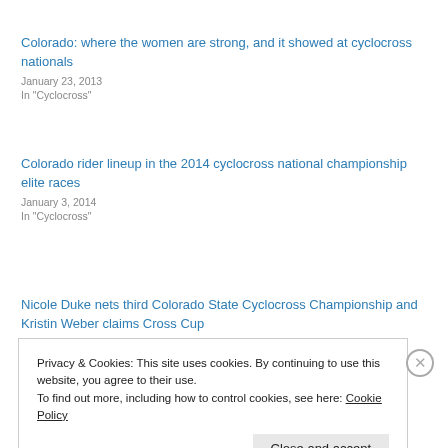Colorado: where the women are strong, and it showed at cyclocross nationals
January 23, 2013
In "Cyclocross"
Colorado rider lineup in the 2014 cyclocross national championship elite races
January 3, 2014
In "Cyclocross"
Nicole Duke nets third Colorado State Cyclocross Championship and Kristin Weber claims Cross Cup
December 17, 2012
In "Cyclocross"
Privacy & Cookies: This site uses cookies. By continuing to use this website, you agree to their use.
To find out more, including how to control cookies, see here: Cookie Policy